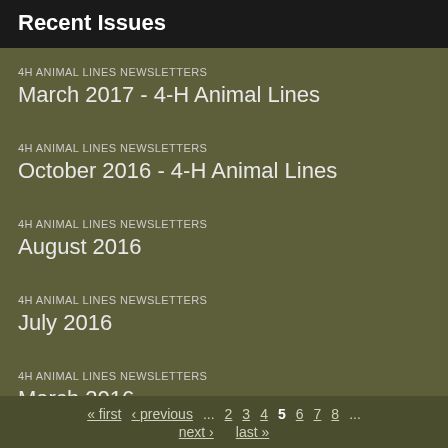Recent Issues
4H ANIMAL LINES NEWSLETTERS
March 2017 - 4-H Animal Lines
4H ANIMAL LINES NEWSLETTERS
October 2016 - 4-H Animal Lines
4H ANIMAL LINES NEWSLETTERS
August 2016
4H ANIMAL LINES NEWSLETTERS
July 2016
4H ANIMAL LINES NEWSLETTERS
March 2016
« first  ‹ previous  ...  2  3  4  5  6  7  8  ...  next ›  last »